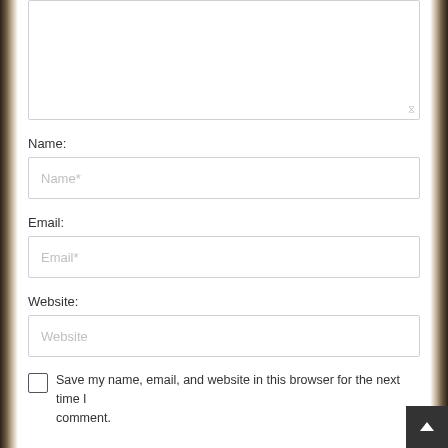[Figure (screenshot): Comment form with textarea (top, partially visible), Name field with placeholder 'Name*', Email field with placeholder 'Email*', Website field with placeholder 'Website', a checkbox, and text 'Save my name, email, and website in this browser for the next time I comment.']
Name:
Name*
Email:
Email*
Website:
Website
Save my name, email, and website in this browser for the next time I comment.